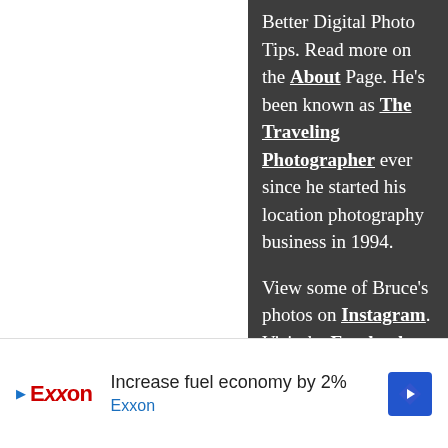Better Digital Photo Tips. Read more on the About Page. He's been known as The Traveling Photographer ever since he started his location photography business in 1994.

View some of Bruce's photos on Instagram.  Visit the Facebook Page. Watch him on YouTube.  Bruce runs photo workshops for kids
[Figure (other): Exxon advertisement banner: 'Increase fuel economy by 2%' with Exxon logo and blue diamond direction icon]